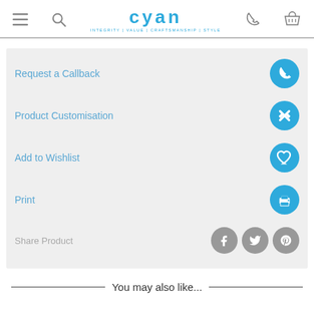Cyan — INTEGRITY | VALUE | CRAFTSMANSHIP | STYLE
Request a Callback
Product Customisation
Add to Wishlist
Print
Share Product
You may also like...